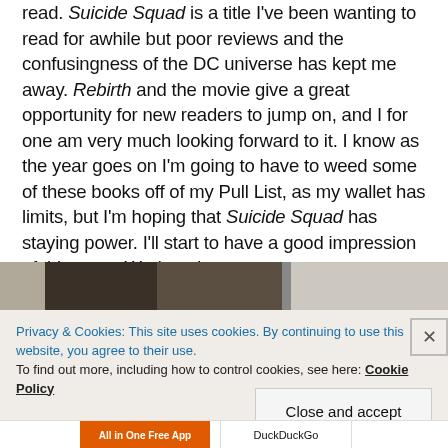read. Suicide Squad is a title I've been wanting to read for awhile but poor reviews and the confusingness of the DC universe has kept me away. Rebirth and the movie give a great opportunity for new readers to jump on, and I for one am very much looking forward to it. I know as the year goes on I'm going to have to weed some of these books off of my Pull List, as my wallet has limits, but I'm hoping that Suicide Squad has staying power. I'll start to have a good impression of this come Wednesday.
[Figure (photo): Partial photo showing an interior scene with dark areas and light walls, partially obscured by a cookie consent banner overlay.]
Privacy & Cookies: This site uses cookies. By continuing to use this website, you agree to their use.
To find out more, including how to control cookies, see here: Cookie Policy
Close and accept